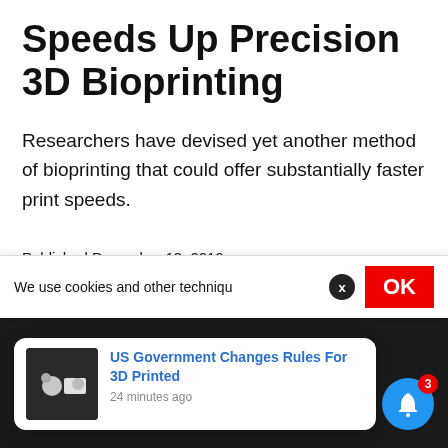Speeds Up Precision 3D Bioprinting
Researchers have devised yet another method of bioprinting that could offer substantially faster print speeds.
Published December 13, 2019
Category [partially obscured]
Tagged [partially obscured]
We use cookies and other techniqu[es]
US Government Changes Rules For 3D Printed
24 minutes ago